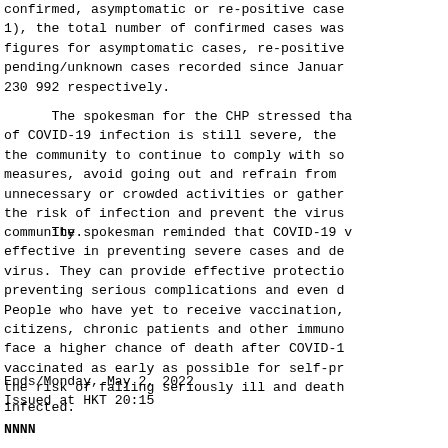confirmed, asymptomatic or re-positive cases (Note 1), the total number of confirmed cases was figures for asymptomatic cases, re-positive pending/unknown cases recorded since January 230 992 respectively.
The spokesman for the CHP stressed that of COVID-19 infection is still severe, the the community to continue to comply with social measures, avoid going out and refrain from unnecessary or crowded activities or gatherings the risk of infection and prevent the virus community.
The spokesman reminded that COVID-19 vaccines effective in preventing severe cases and death from the virus. They can provide effective protection in preventing serious complications and even death. People who have yet to receive vaccination, elderly citizens, chronic patients and other immunocompromised face a higher chance of death after COVID-19. Get vaccinated as early as possible for self-protection the risk of falling seriously ill and death after infected.
Ends/Monday, May 2, 2022
Issued at HKT 20:15
NNNN